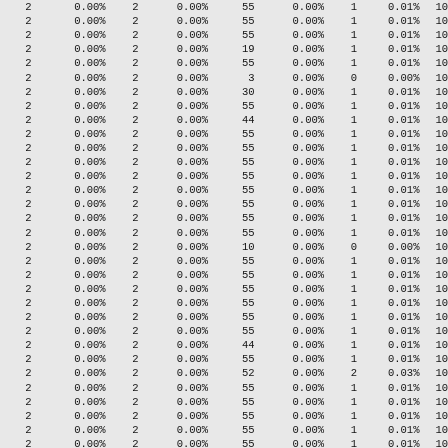| 2 | 0.00% | 2 | 0.00% | 55 | 0.00% | 1 | 0.01% | 10 |
| 2 | 0.00% | 2 | 0.00% | 55 | 0.00% | 1 | 0.01% | 10 |
| 2 | 0.00% | 2 | 0.00% | 55 | 0.00% | 1 | 0.01% | 10 |
| 2 | 0.00% | 2 | 0.00% | 19 | 0.00% | 1 | 0.01% | 10 |
| 2 | 0.00% | 2 | 0.00% | 55 | 0.00% | 1 | 0.01% | 10 |
| 2 | 0.00% | 2 | 0.00% | 3 | 0.00% | 0 | 0.00% | 10 |
| 2 | 0.00% | 2 | 0.00% | 30 | 0.00% | 1 | 0.01% | 10 |
| 2 | 0.00% | 2 | 0.00% | 55 | 0.00% | 1 | 0.01% | 10 |
| 2 | 0.00% | 2 | 0.00% | 44 | 0.00% | 1 | 0.01% | 10 |
| 2 | 0.00% | 2 | 0.00% | 55 | 0.00% | 1 | 0.01% | 10 |
| 2 | 0.00% | 2 | 0.00% | 55 | 0.00% | 1 | 0.01% | 10 |
| 2 | 0.00% | 2 | 0.00% | 55 | 0.00% | 1 | 0.01% | 10 |
| 2 | 0.00% | 2 | 0.00% | 55 | 0.00% | 1 | 0.01% | 10 |
| 2 | 0.00% | 2 | 0.00% | 55 | 0.00% | 1 | 0.01% | 10 |
| 2 | 0.00% | 2 | 0.00% | 55 | 0.00% | 1 | 0.01% | 10 |
| 2 | 0.00% | 2 | 0.00% | 55 | 0.00% | 1 | 0.01% | 10 |
| 2 | 0.00% | 2 | 0.00% | 55 | 0.00% | 1 | 0.01% | 10 |
| 2 | 0.00% | 2 | 0.00% | 10 | 0.00% | 0 | 0.00% | 10 |
| 2 | 0.00% | 2 | 0.00% | 55 | 0.00% | 1 | 0.01% | 10 |
| 2 | 0.00% | 2 | 0.00% | 55 | 0.00% | 1 | 0.01% | 10 |
| 2 | 0.00% | 2 | 0.00% | 55 | 0.00% | 1 | 0.01% | 10 |
| 2 | 0.00% | 2 | 0.00% | 55 | 0.00% | 1 | 0.01% | 10 |
| 2 | 0.00% | 2 | 0.00% | 55 | 0.00% | 1 | 0.01% | 10 |
| 2 | 0.00% | 2 | 0.00% | 55 | 0.00% | 1 | 0.01% | 10 |
| 2 | 0.00% | 2 | 0.00% | 44 | 0.00% | 1 | 0.01% | 10 |
| 2 | 0.00% | 2 | 0.00% | 55 | 0.00% | 1 | 0.01% | 10 |
| 2 | 0.00% | 2 | 0.00% | 52 | 0.00% | 2 | 0.03% | 10 |
| 2 | 0.00% | 2 | 0.00% | 55 | 0.00% | 1 | 0.01% | 10 |
| 2 | 0.00% | 2 | 0.00% | 55 | 0.00% | 1 | 0.01% | 10 |
| 2 | 0.00% | 2 | 0.00% | 55 | 0.00% | 1 | 0.01% | 10 |
| 2 | 0.00% | 2 | 0.00% | 55 | 0.00% | 1 | 0.01% | 10 |
| 2 | 0.00% | 2 | 0.00% | 55 | 0.00% | 1 | 0.01% | 10 |
| 2 | 0.00% | 2 | 0.00% | 55 | 0.00% | 1 | 0.01% | 10 |
| 2 | 0.00% | 2 | 0.00% | 55 | 0.00% | 1 | 0.01% | 10 |
| 2 | 0.00% | 2 | 0.00% | 55 | 0.00% | 1 | 0.01% | 10 |
| 2 | 0.00% | 2 | 0.00% | 19 | 0.00% | 1 | 0.01% | 10 |
| 2 | 0.00% | 2 | 0.00% | 19 | 0.00% | 1 | 0.01% | 10 |
| 2 | 0.00% | 2 | 0.00% | 55 | 0.00% | 1 | 0.01% | 10 |
| 2 | 0.00% | 2 | 0.00% | 55 | 0.00% | 1 | 0.01% | 10 |
| 2 | 0.00% | 2 | 0.00% | 44 | 0.00% | 1 | 0.01% | 10 |
| 2 | 0.00% | 2 | 0.00% | 19 | 0.00% | 1 | 0.01% |  |